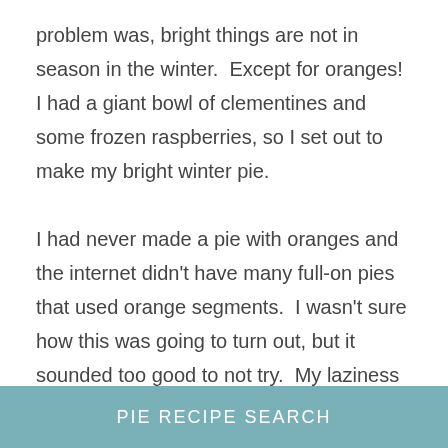problem was, bright things are not in season in the winter.  Except for oranges!  I had a giant bowl of clementines and some frozen raspberries, so I set out to make my bright winter pie.

I had never made a pie with oranges and the internet didn't have many full-on pies that used orange segments.  I wasn't sure how this was going to turn out, but it sounded too good to not try.  My laziness prevailed and I decided to see what would happen if I used the clementine segments straight out of the peel.  No taking off the thin skins because who has time for
PIE RECIPE SEARCH